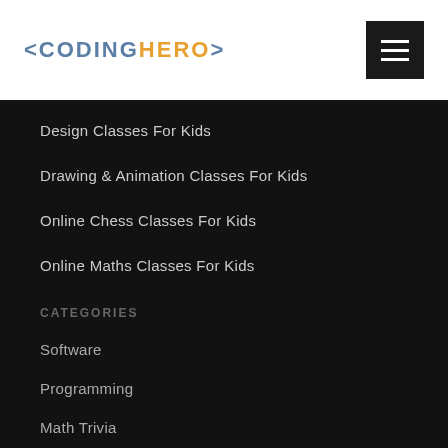< CODING HERO >
Design Classes For Kids
Drawing & Animation Classes For Kids
Online Chess Classes For Kids
Online Maths Classes For Kids
CATEGORIES
Software
Programming
Math Trivia
Math Activities
Kids Inspiration
Kids Activities